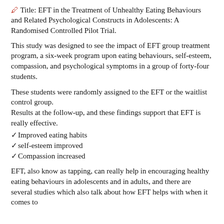🖊️ Title: EFT in the Treatment of Unhealthy Eating Behaviours and Related Psychological Constructs in Adolescents: A Randomised Controlled Pilot Trial.
This study was designed to see the impact of EFT group treatment program, a six-week program upon eating behaviours, self-esteem, compassion, and psychological symptoms in a group of forty-four students.
These students were randomly assigned to the EFT or the waitlist control group.
Results at the follow-up, and these findings support that EFT is really effective.
✓Improved eating habits
✓self-esteem improved
✓Compassion increased
EFT, also know as tapping, can really help in encouraging healthy eating behaviours in adolescents and in adults, and there are several studies which also talk about how EFT helps with when it comes to